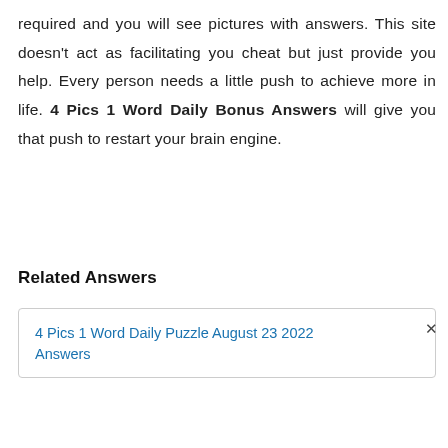required and you will see pictures with answers. This site doesn't act as facilitating you cheat but just provide you help. Every person needs a little push to achieve more in life. 4 Pics 1 Word Daily Bonus Answers will give you that push to restart your brain engine.
Related Answers
4 Pics 1 Word Daily Puzzle August 23 2022 Answers